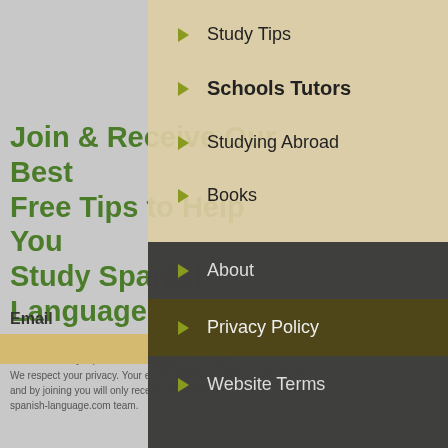Join & Receive Our Best Free Tips to Help You Study Spanish Language
Occasional News, Tips, Offers & Updates from the Study-Spanish-Language.com Team
Email
We respect your privacy. Your email address is kept on a private list and by joining you will only receive communication from the study-spanish-language.com team.
Study Tips
Schools Tutors
Studying Abroad
Books
About
Privacy Policy
Website Terms